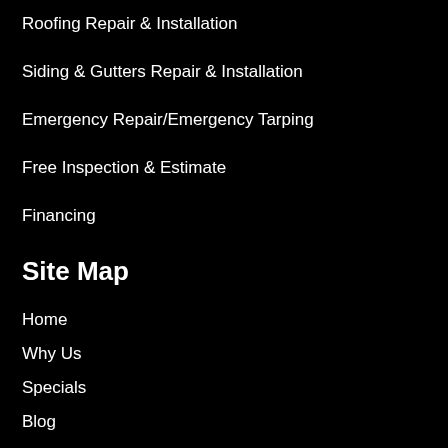Roofing  Repair & Installation
Siding & Gutters Repair & Installation
Emergency Repair/Emergency Tarping
Free Inspection & Estimate
Financing
Site Map
Home
Why Us
Specials
Blog
Reviews
Service Areas
Contact